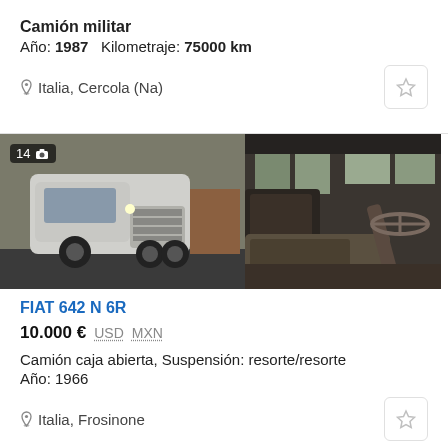Camión militar
Año: 1987   Kilometraje: 75000 km
Italia, Cercola (Na)
[Figure (photo): Two photos of a vintage FIAT 642 N 6R military truck: left shows exterior front view of white/grey truck in a warehouse, right shows interior cab with old seat and steering wheel]
FIAT 642 N 6R
10.000 €  USD  MXN
Camión caja abierta, Suspensión: resorte/resorte
Año: 1966
Italia, Frosinone